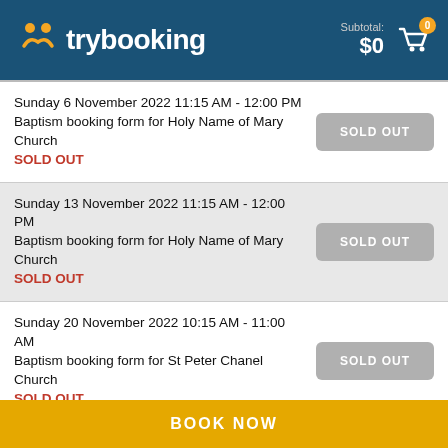trybooking — Subtotal: $0
Sunday 6 November 2022 11:15 AM - 12:00 PM
Baptism booking form for Holy Name of Mary Church
SOLD OUT
Sunday 13 November 2022 11:15 AM - 12:00 PM
Baptism booking form for Holy Name of Mary Church
SOLD OUT
Sunday 20 November 2022 10:15 AM - 11:00 AM
Baptism booking form for St Peter Chanel Church
SOLD OUT
BOOK NOW